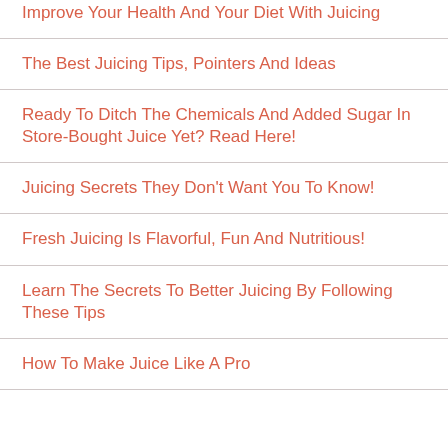Improve Your Health And Your Diet With Juicing
The Best Juicing Tips, Pointers And Ideas
Ready To Ditch The Chemicals And Added Sugar In Store-Bought Juice Yet? Read Here!
Juicing Secrets They Don't Want You To Know!
Fresh Juicing Is Flavorful, Fun And Nutritious!
Learn The Secrets To Better Juicing By Following These Tips
How To Make Juice Like A Pro